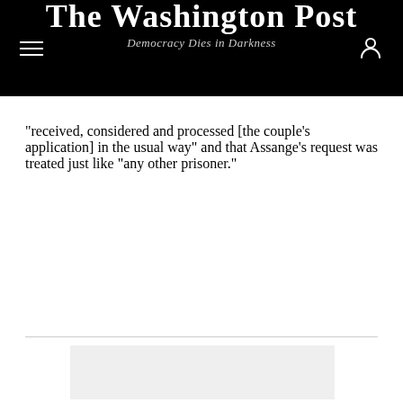The Washington Post — Democracy Dies in Darkness
“Received, considered and processed [the couple’s application] in the usual way” and that Assange’s request was treated just like “any other prisoner.”
[Figure (other): Advertisement placeholder box (light gray rectangle)]